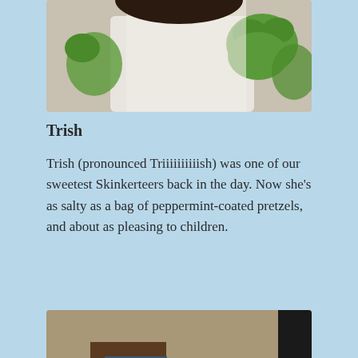[Figure (photo): Person in white shirt holding a green frog puppet/costume, photo cropped at chest level]
Trish
Trish (pronounced Triiiiiiiiiish) was one of our sweetest Skinkerteers back in the day. Now she’s as salty as a bag of peppermint-coated pretzels, and about as pleasing to children.
[Figure (photo): Woman wearing a green frog hat/costume with frog hand puppet gesturing, wearing a dark blazer, standing in front of a doorway]